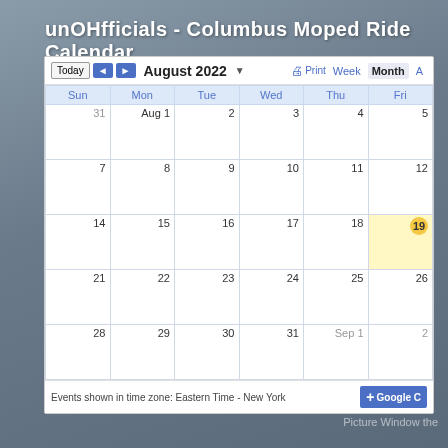unOHfficials - Columbus Moped Ride Calendar
[Figure (screenshot): Google Calendar showing August 2022 month view. Today is August 19 (highlighted in yellow). Days Sun through Fri visible. Dates: Jul 31, Aug 1-31, Sep 1-2. Footer shows 'Events shown in time zone: Eastern Time - New York' and Google Calendar button.]
Picture Window the